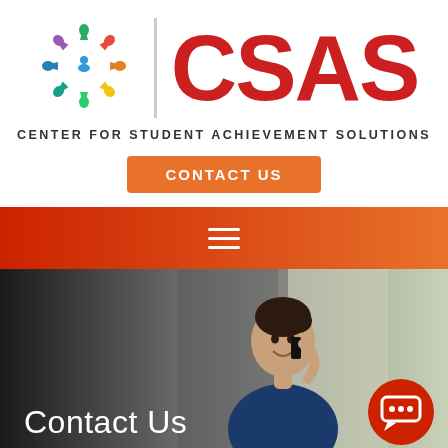[Figure (logo): CSAS - Center for Student Achievement Solutions logo with colorful starburst icon of people, vertical divider bar, and large red CSAS text]
CENTER FOR STUDENT ACHIEVEMENT SOLUTIONS
CONTACT US
[Figure (other): Red-to-orange gradient navigation bar with hamburger menu icon (three white horizontal lines)]
[Figure (photo): A woman smiling and talking on a phone, seated at a desk with a computer monitor in the background, overlaid with Contact Us text and a chat bubble icon]